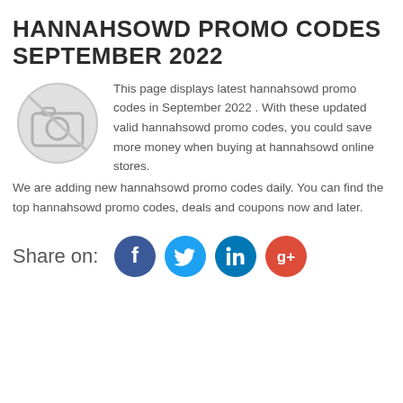HANNAHSOWD PROMO CODES SEPTEMBER 2022
[Figure (illustration): Camera placeholder image (grey circle with crossed-out camera icon)]
This page displays latest hannahsowd promo codes in September 2022 . With these updated valid hannahsowd promo codes, you could save more money when buying at hannahsowd online stores. We are adding new hannahsowd promo codes daily. You can find the top hannahsowd promo codes, deals and coupons now and later.
[Figure (infographic): Share on social media icons: Facebook (dark blue), Twitter (light blue), LinkedIn (teal), Google+ (red)]